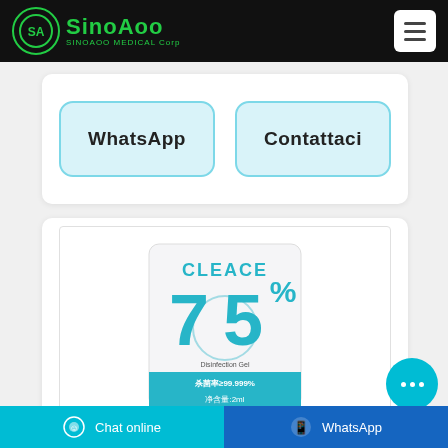SinoAoo - SINOAOO MEDICAL Corp
WhatsApp | Contattaci
[Figure (photo): CLEACE 75% Disinfection Gel 2ml packet product photo]
Chat online | WhatsApp